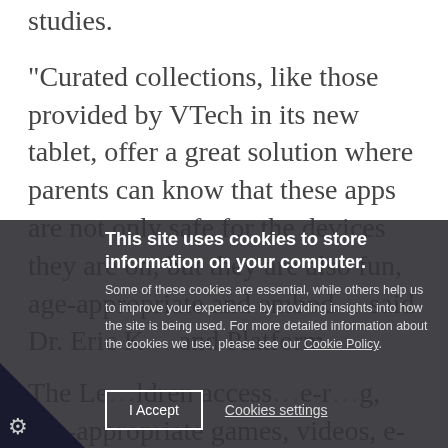studies.

"Curated collections, like those provided by VTech in its new tablet, offer a great solution where parents can know that these apps are not only safe for the devices they are on, but they are also fun, age-appropriate and embod… said Dr. Eric K… and Platform… The Le…ldren access…e-r…g, age-appropriate games, videos, e-books and music. …ing, math, social …handwriting, science, problemsolving…
This site uses cookies to store information on your computer. Some of these cookies are essential, while others help us to improve your experience by providing insights into how the site is being used. For more detailed information about the cookies we use, please see our Cookie Policy.
I Accept
Cookies settings